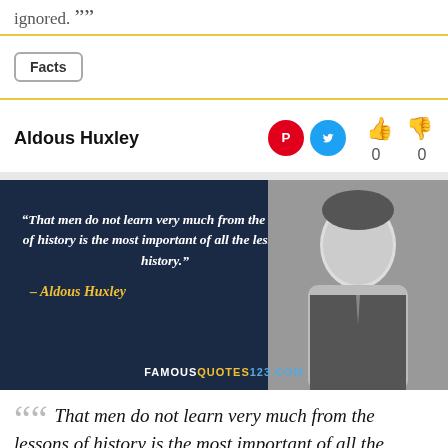ignored. ””
Facts
Aldous Huxley
[Figure (photo): Quote image with dark navy background showing text of the Aldous Huxley quote in italic white font with a yellow attribution, and a black-and-white portrait photo of Aldous Huxley on the right. Watermark reads FAMOUSQUOTES123.COM at the bottom.]
““ That men do not learn very much from the lessons of history is the most important of all the lessons of history. ””